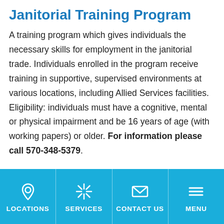Janitorial Training Program
A training program which gives individuals the necessary skills for employment in the janitorial trade. Individuals enrolled in the program receive training in supportive, supervised environments at various locations, including Allied Services facilities. Eligibility: individuals must have a cognitive, mental or physical impairment and be 16 years of age (with working papers) or older. For information please call 570-348-5379.
LOCATIONS | SERVICES | CONTACT US | MENU